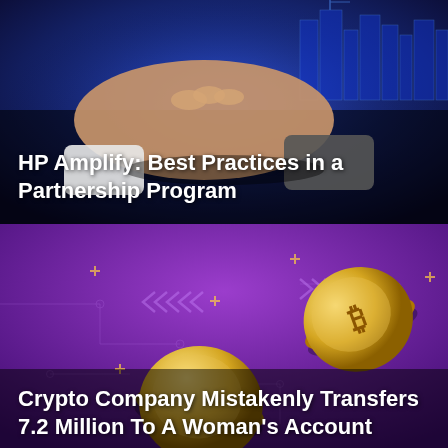[Figure (photo): Two people shaking hands in business attire against a dark blue digital cityscape background]
HP Amplify: Best Practices in a Partnership Program
[Figure (illustration): Purple background with floating 3D golden cryptocurrency coins (Bitcoin, Ethereum/Solana) and circuit board patterns with decorative arrow symbols]
Crypto Company Mistakenly Transfers 7.2 Million To A Woman's Account